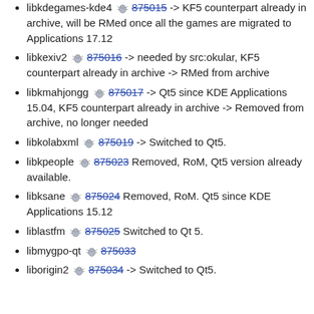libkdegames-kde4 875015 -> KF5 counterpart already in archive, will be RMed once all the games are migrated to Applications 17.12
libkexiv2 875016 -> needed by src:okular, KF5 counterpart already in archive -> RMed from archive
libkmahjongg 875017 -> Qt5 since KDE Applications 15.04, KF5 counterpart already in archive -> Removed from archive, no longer needed
libkolabxml 875019 -> Switched to Qt5.
libkpeople 875023 Removed, RoM, Qt5 version already available.
libksane 875024 Removed, RoM. Qt5 since KDE Applications 15.12
liblastfm 875025 Switched to Qt 5.
libmygpo-qt 875033
liborigin2 875034 -> Switched to Qt5.